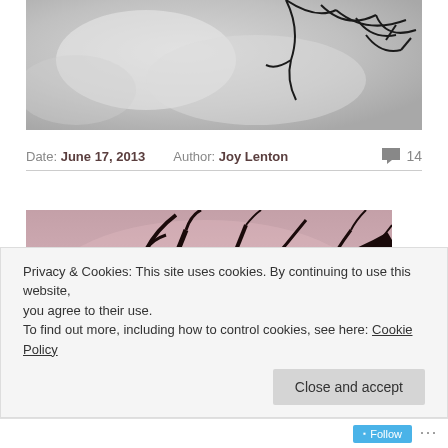[Figure (photo): Photo of bare tree branches silhouetted against a blurred grey/white sky, bird visible in top right area]
Date: June 17, 2013   Author: Joy Lenton   💬 14
[Figure (photo): Photo of bare tree branches silhouetted against a pinkish-mauve dusk sky, with a bird perched on a branch]
Privacy & Cookies: This site uses cookies. By continuing to use this website, you agree to their use.
To find out more, including how to control cookies, see here: Cookie Policy
Close and accept